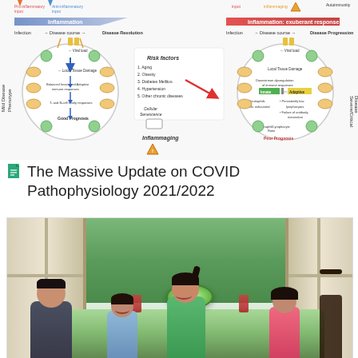[Figure (schematic): Two-panel biomedical diagram showing COVID-19 pathophysiology: left panel shows mild disease phenotype with balanced immune response and good prognosis; right panel shows severe/critical disease phenotype with exuberant inflammation, risk factors listed in center (Aging, Obesity, Diabetes Mellitus, Hypertension, Other chronic diseases), Cellular Senescence and Inflammaging pathways indicated.]
The Massive Update on COVID Pathophysiology 2021/2022
[Figure (photo): Photograph of an Asian family of four at a dining table indoors near windows with greenery outside. A woman in a green t-shirt stands serving food; a man sits with his back to camera; a boy and a girl sit at the table with a green salad bowl.]